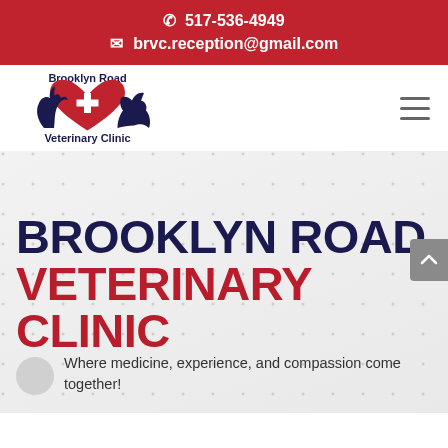517-536-4949
brvc.reception@gmail.com
[Figure (logo): Brooklyn Road Veterinary Clinic logo with cat, dog, and heart with cross symbol, dark navy and red color scheme]
BROOKLYN ROAD VETERINARY CLINIC
Where medicine, experience, and compassion come together!